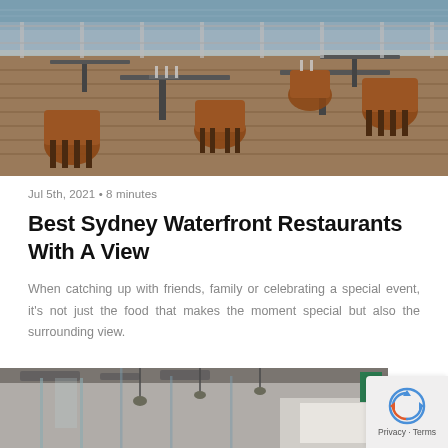[Figure (photo): Outdoor waterfront restaurant with wooden chairs and dark metal-legged tables set with glassware, water visible in background]
Jul 5th, 2021 • 8 minutes
Best Sydney Waterfront Restaurants With A View
When catching up with friends, family or celebrating a special event, it's not just the food that makes the moment special but also the surrounding view.
[Figure (photo): Interior of a modern restaurant with glass partitions and hanging lights, partial green label visible in top right]